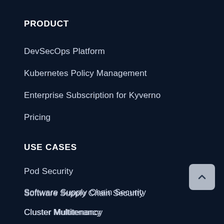PRODUCT
DevSecOps Platform
Kubernetes Policy Management
Enterprise Subscription for Kyverno
Pricing
USE CASES
Pod Security
Software Supply Chain Security
Cluster Multitenancy
Namespace-as-a-Service